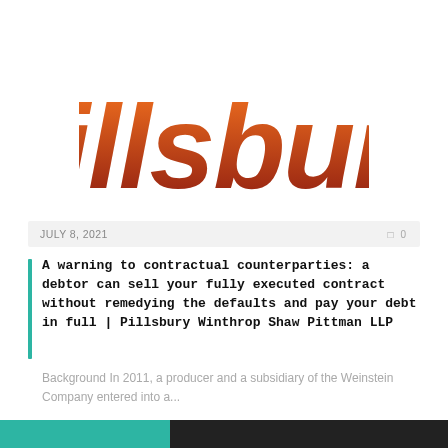[Figure (logo): Pillsbury law firm logo in orange-to-dark-red gradient lettering]
JULY 8, 2021   0
A warning to contractual counterparties: a debtor can sell your fully executed contract without remedying the defaults and pay your debt in full | Pillsbury Winthrop Shaw Pittman LLP
Background In 2011, a producer and a subsidiary of the Weinstein Company entered into a...